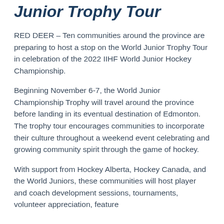Junior Trophy Tour
RED DEER – Ten communities around the province are preparing to host a stop on the World Junior Trophy Tour in celebration of the 2022 IIHF World Junior Hockey Championship.
Beginning November 6-7, the World Junior Championship Trophy will travel around the province before landing in its eventual destination of Edmonton. The trophy tour encourages communities to incorporate their culture throughout a weekend event celebrating and growing community spirit through the game of hockey.
With support from Hockey Alberta, Hockey Canada, and the World Juniors, these communities will host player and coach development sessions, tournaments, volunteer appreciation, feature